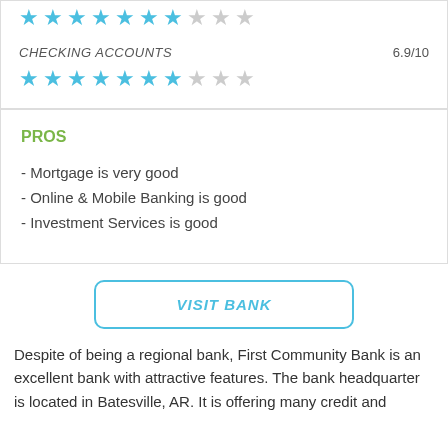[Figure (other): Star rating row at top (partial, cut off) — 7 filled blue stars and 3 empty grey stars]
CHECKING ACCOUNTS   6.9/10
[Figure (other): Star rating row — 7 filled blue stars and 3 empty grey stars for Checking Accounts 6.9/10]
PROS
- Mortgage is very good
- Online & Mobile Banking is good
- Investment Services is good
VISIT BANK
Despite of being a regional bank, First Community Bank is an excellent bank with attractive features. The bank headquarter is located in Batesville, AR. It is offering many credit and